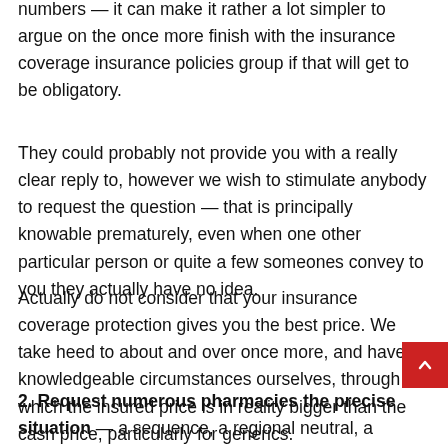numbers — it can make it rather a lot simpler to argue on the once more finish with the insurance coverage insurance policies group if that will get to be obligatory.
They could probably not provide you with a really clear reply to, however we wish to stimulate anybody to request the question — that is principally knowable prematurely, even when one other particular person or quite a few someones convey to you they actually have no idea.
Actually do not consider that your insurance coverage protection gives you the best price. We take heed to about and over once more, and have knowledgeable circumstances ourselves, through which the insured price is in reality bigger than the cash price, particularly for generics.
2. Request numerous pharmacies the precise situation — a sequence, a regional neutral, a significant-box retailer.